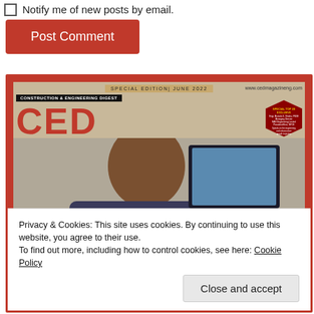Notify me of new posts by email.
Post Comment
[Figure (photo): CED (Construction & Engineering Digest) magazine cover, Special Edition June 2022, featuring a person and the CED logo in red letters.]
Privacy & Cookies: This site uses cookies. By continuing to use this website, you agree to their use.
To find out more, including how to control cookies, see here: Cookie Policy
Close and accept